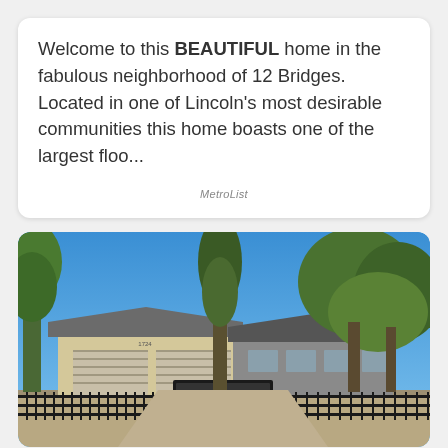Welcome to this BEAUTIFUL home in the fabulous neighborhood of 12 Bridges. Located in one of Lincoln's most desirable communities this home boasts one of the largest floo...
MetroList
[Figure (photo): Exterior photo of a single-story house with beige/tan siding and brick accents, a two-car garage, black iron fence gate in front, and large trees surrounding the property under a bright blue sky.]